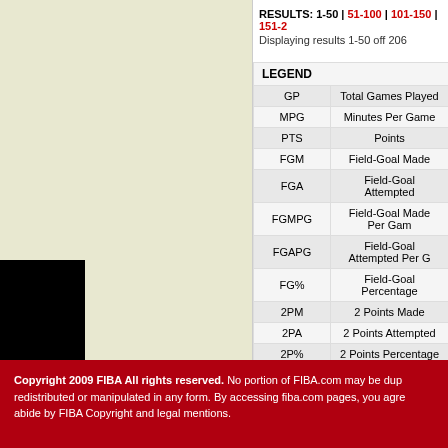RESULTS: 1-50 | 51-100 | 101-150 | 151-2...
Displaying results 1-50 off 206
| Abbreviation | Description |
| --- | --- |
| GP | Total Games Played |
| MPG | Minutes Per Game |
| PTS | Points |
| FGM | Field-Goal Made |
| FGA | Field-Goal Attempted |
| FGMPG | Field-Goal Made Per Game |
| FGAPG | Field-Goal Attempted Per G |
| FG% | Field-Goal Percentage |
| 2PM | 2 Points Made |
| 2PA | 2 Points Attempted |
| 2P% | 2 Points Percentage |
| 3PM | 3 Points Made |
Copyright 2009 FIBA All rights reserved. No portion of FIBA.com may be duplicated, redistributed or manipulated in any form. By accessing fiba.com pages, you agree to abide by FIBA Copyright and legal mentions.